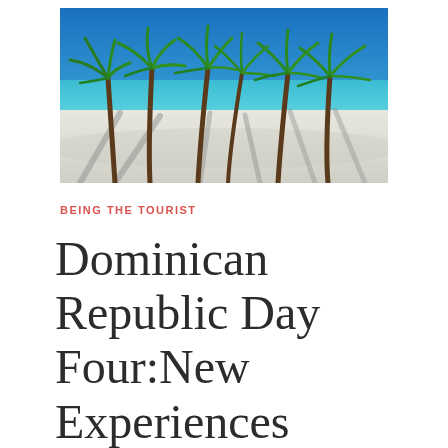[Figure (photo): Tropical beach scene with tall palm trees leaning over bright white sand and vivid turquoise-blue ocean water under a deep blue sky.]
BEING THE TOURIST
Dominican Republic Day Four:New Experiences